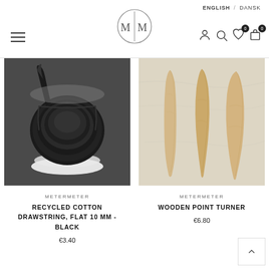ENGLISH / DANSK — MM logo — navigation icons
[Figure (photo): Black recycled cotton drawstring ribbon wound on a white spool, on a dark background]
[Figure (photo): Three wooden point turner tools of varying shapes on a light marble/stone surface]
METERMETER
RECYCLED COTTON DRAWSTRING, FLAT 10 MM - BLACK
€3.40
METERMETER
WOODEN POINT TURNER
€6.80